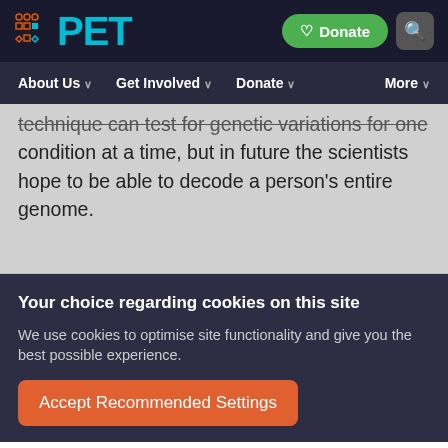PET — Donate | Search | About Us | Get Involved | Donate | More
technique can test for genetic variations for one condition at a time, but in future the scientists hope to be able to decode a person's entire genome.
Your choice regarding cookies on this site
We use cookies to optimise site functionality and give you the best possible experience.
Accept Recommended Settings